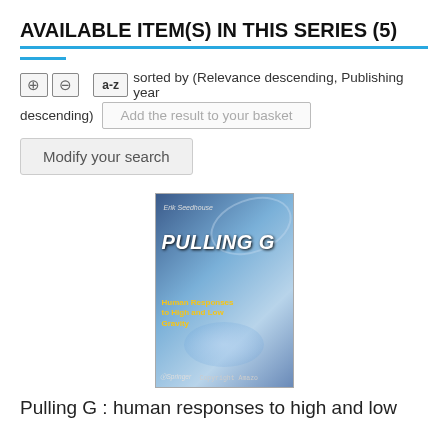AVAILABLE ITEM(S) IN THIS SERIES (5)
sorted by (Relevance descending, Publishing year descending)
Add the result to your basket
Modify your search
[Figure (illustration): Book cover of 'Pulling G: Human Responses to High and Low Gravity' by Erik Seedhouse, published by Springer. Blue/silver cover with aircraft imagery and yellow subtitle text. Copyright Amazon watermark.]
Pulling G : human responses to high and low